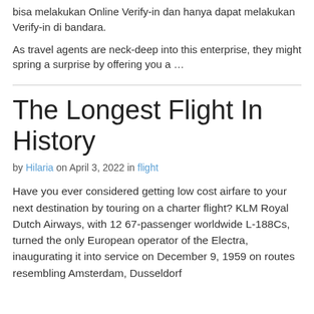bisa melakukan Online Verify-in dan hanya dapat melakukan Verify-in di bandara.
As travel agents are neck-deep into this enterprise, they might spring a surprise by offering you a …
The Longest Flight In History
by Hilaria on April 3, 2022 in flight
Have you ever considered getting low cost airfare to your next destination by touring on a charter flight? KLM Royal Dutch Airways, with 12 67-passenger worldwide L-188Cs, turned the only European operator of the Electra, inaugurating it into service on December 9, 1959 on routes resembling Amsterdam, Dusseldorf